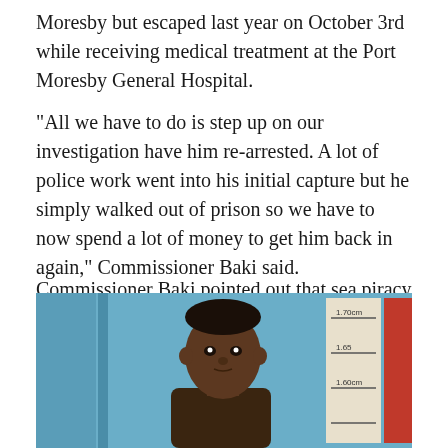Moresby but escaped last year on October 3rd while receiving medical treatment at the Port Moresby General Hospital.
"All we have to do is step up on our investigation have him re-arrested. A lot of police work went into his initial capture but he simply walked out of prison so we have to now spend a lot of money to get him back in again," Commissioner Baki said.
Commissioner Baki pointed out that sea piracy was on the rise in Alotau due to the fact police does not have the ability to deal with it in Alotau. The only police boat in Alotau broke down six years ago.
[Figure (photo): Mugshot-style photo of a man standing against a blue background with height measurement markers visible on the right side.]